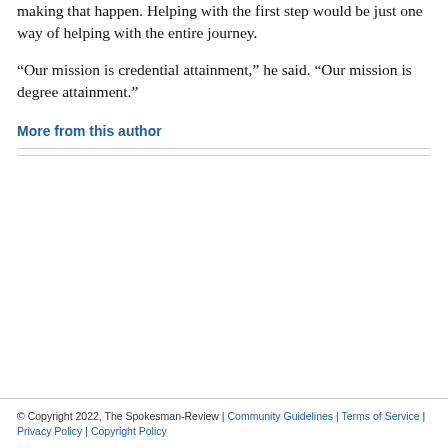making that happen. Helping with the first step would be just one way of helping with the entire journey.
“Our mission is credential attainment,” he said. “Our mission is degree attainment.”
More from this author
© Copyright 2022, The Spokesman-Review | Community Guidelines | Terms of Service | Privacy Policy | Copyright Policy